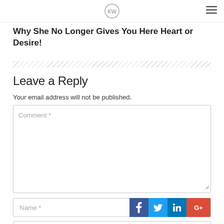[Logo] [Hamburger menu]
Why She No Longer Gives You Here Heart or Desire!
Leave a Reply
Your email address will not be published.
Comment *
Name *